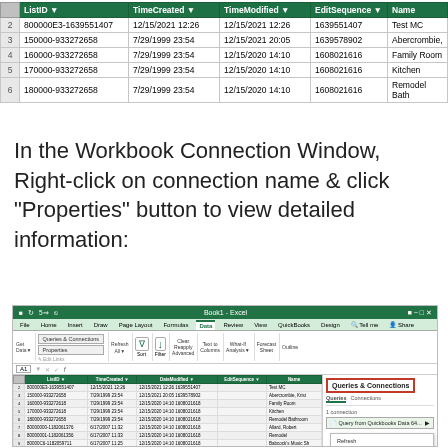|  | ListID | TimeCreated | TimeModified | EditSequence | Name |
| --- | --- | --- | --- | --- | --- |
| 2 | 800000E3-1639551407 | 12/15/2021 12:26 | 12/15/2021 12:26 | 1639551407 | Test MC |
| 3 | 150000-933272658 | 7/29/1999 23:54 | 12/15/2021 20:05 | 1639578902 | Abercrombie, |
| 4 | 160000-933272658 | 7/29/1999 23:54 | 12/15/2020 14:10 | 1608021616 | Family Room |
| 5 | 170000-933272658 | 7/29/1999 23:54 | 12/15/2020 14:10 | 1608021616 | Kitchen |
| 6 | 180000-933272658 | 7/29/1999 23:54 | 12/15/2020 14:10 | 1608021616 | Remodel Bath |
In the Workbook Connection Window, Right-click on connection name & click "Properties" button to view detailed information:
[Figure (screenshot): Excel screenshot showing the Data tab ribbon with Queries & Connections panel open on the right side. The panel shows a connection named 'Query from Quickbooks Data 64...' with a context menu open showing Refresh, Delete, and Properties options, where Properties is highlighted with a red border.]